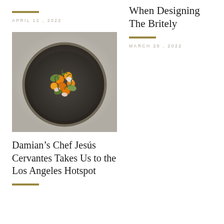APRIL 12, 2022
[Figure (photo): Overhead view of a dark ceramic bowl containing a colorful dish with cherry tomatoes, avocado, microgreens, and herbs on a gray surface]
Damian's Chef Jesús Cervantes Takes Us to the Los Angeles Hotspot
When Designing The Britely
MARCH 28, 2022